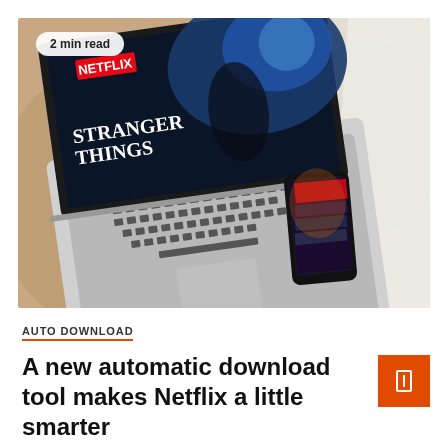[Figure (photo): A laptop showing Netflix Stranger Things on screen, with a smartphone beside it, placed on a beige blanket/bed. A white blanket is visible on the right side.]
2 min read
AUTO DOWNLOAD
A new automatic download tool makes Netflix a little smarter